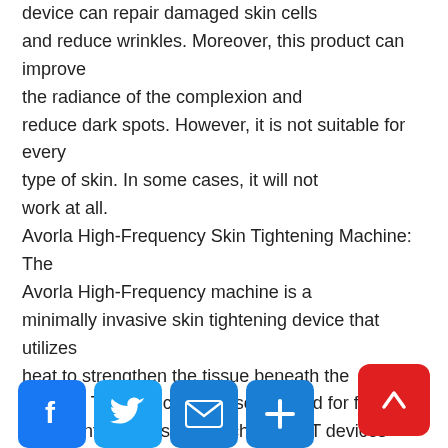device can repair damaged skin cells and reduce wrinkles. Moreover, this product can improve the radiance of the complexion and reduce dark spots. However, it is not suitable for every type of skin. In some cases, it will not work at all.
Avorla High-Frequency Skin Tightening Machine: The Avorla High-Frequency machine is a minimally invasive skin tightening device that utilizes heat to strengthen the tissue beneath the surface. This device can also be used for facial treatment, such as on the cheeks. HT devices can be very painful and can cause irritation and discomfort, but it is not recommended for sensitive skin.
[Figure (infographic): Social share buttons: Facebook (blue), Twitter (blue), Email (blue), Plus/Share (blue), and a red scroll-to-top button with upward arrow]